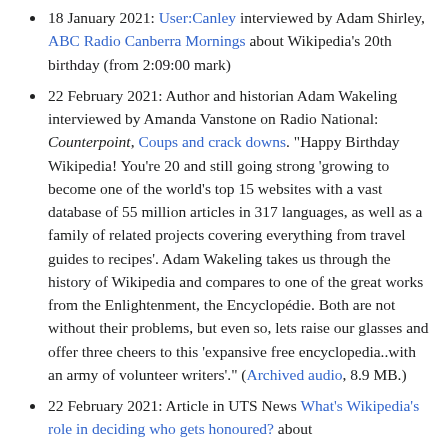18 January 2021: User:Canley interviewed by Adam Shirley, ABC Radio Canberra Mornings about Wikipedia's 20th birthday (from 2:09:00 mark)
22 February 2021: Author and historian Adam Wakeling interviewed by Amanda Vanstone on Radio National: Counterpoint, Coups and crack downs. "Happy Birthday Wikipedia! You're 20 and still going strong 'growing to become one of the world's top 15 websites with a vast database of 55 million articles in 317 languages, as well as a family of related projects covering everything from travel guides to recipes'. Adam Wakeling takes us through the history of Wikipedia and compares to one of the great works from the Enlightenment, the Encyclopédie. Both are not without their problems, but even so, lets raise our glasses and offer three cheers to this 'expansive free encyclopedia..with an army of volunteer writers'." (Archived audio, 8.9 MB.)
22 February 2021: Article in UTS News What's Wikipedia's role in deciding who gets honoured? about